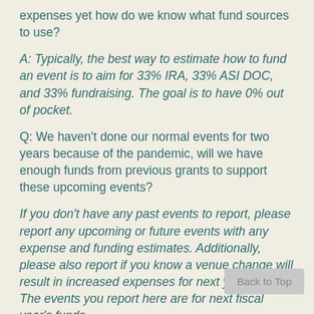expenses yet how do we know what fund sources to use?
A: Typically, the best way to estimate how to fund an event is to aim for 33% IRA, 33% ASI DOC, and 33% fundraising. The goal is to have 0% out of pocket.
Q: We haven't done our normal events for two years because of the pandemic, will we have enough funds from previous grants to support these upcoming events?
If you don't have any past events to report, please report any upcoming or future events with any expense and funding estimates. Additionally, please also report if you know a venue change will result in increased expenses for next year's event. The events you report here are for next fiscal year's funds.
We already have this fiscal year's grant funds but there is